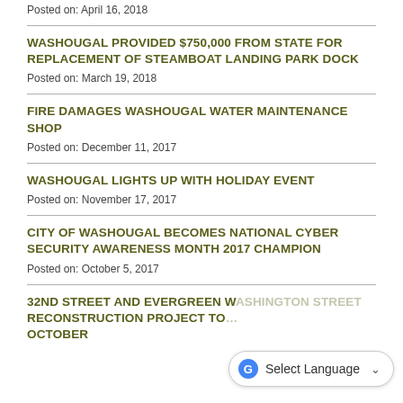Posted on: April 16, 2018
WASHOUGAL PROVIDED $750,000 FROM STATE FOR REPLACEMENT OF STEAMBOAT LANDING PARK DOCK
Posted on: March 19, 2018
FIRE DAMAGES WASHOUGAL WATER MAINTENANCE SHOP
Posted on: December 11, 2017
WASHOUGAL LIGHTS UP WITH HOLIDAY EVENT
Posted on: November 17, 2017
CITY OF WASHOUGAL BECOMES NATIONAL CYBER SECURITY AWARENESS MONTH 2017 CHAMPION
Posted on: October 5, 2017
32ND STREET AND EVERGREEN WAY INTERSECTION RECONSTRUCTION PROJECT TO… OCTOBER